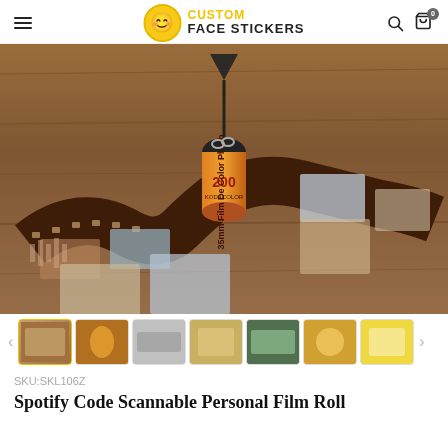Custom Face Stickers
[Figure (photo): Product photo of a 35mm film roll keychain unrolled on a wooden surface, showing custom couple photos on the film strip. A black film canister with orange label reading '35mm Film De Color Photo 200 KODACOLOR' sits in the center. A downward arrow graphic points to the top of the canister. The unrolled film strip shows multiple couple photos including selfies and indoor portraits.]
[Figure (photo): Thumbnail gallery showing 7 product images: film roll on wood, orange film canister, flat film strip, packaged product, green film strip, film roll with packaging, and yellow-background product shot.]
SKU:SKL106Z
Spotify Code Scannable Personal Film Roll